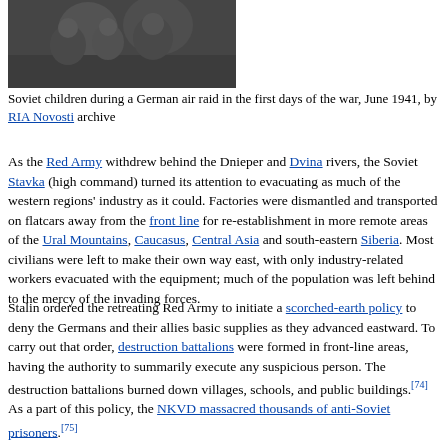[Figure (photo): Black and white photo of Soviet children during a German air raid, June 1941]
Soviet children during a German air raid in the first days of the war, June 1941, by RIA Novosti archive
As the Red Army withdrew behind the Dnieper and Dvina rivers, the Soviet Stavka (high command) turned its attention to evacuating as much of the western regions' industry as it could. Factories were dismantled and transported on flatcars away from the front line for re-establishment in more remote areas of the Ural Mountains, Caucasus, Central Asia and south-eastern Siberia. Most civilians were left to make their own way east, with only industry-related workers evacuated with the equipment; much of the population was left behind to the mercy of the invading forces.
Stalin ordered the retreating Red Army to initiate a scorched-earth policy to deny the Germans and their allies basic supplies as they advanced eastward. To carry out that order, destruction battalions were formed in front-line areas, having the authority to summarily execute any suspicious person. The destruction battalions burned down villages, schools, and public buildings.[74] As a part of this policy, the NKVD massacred thousands of anti-Soviet prisoners.[75]